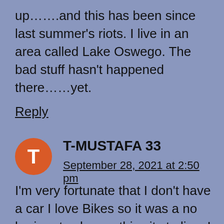up…….and this has been since last summer's riots. I live in an area called Lake Oswego. The bad stuff hasn't happened there……yet.
Reply
T-MUSTAFA 33
September 28, 2021 at 2:50 pm
I'm very fortunate that I don't have a car I love Bikes so it was a no brainer to choose this city to live. I look to settle here paying for a vehicle sucks when u don't have a lot of money. I love